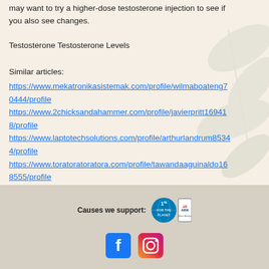may want to try a higher-dose testosterone injection to see if you also see changes.
Testosterone Testosterone Levels
Similar articles:
https://www.mekatronikasistemak.com/profile/wilmaboateng70444/profile
https://www.2chicksandahammer.com/profile/javierpritt169418/profile
https://www.laptotechsolutions.com/profile/arthurlandrum85344/profile
https://www.toratoratoratora.com/profile/tawandaaguinaldo168555/profile
Causes we support: [1% for the Planet logo] [US ARK Silver Member logo] [Facebook icon] [Instagram icon]